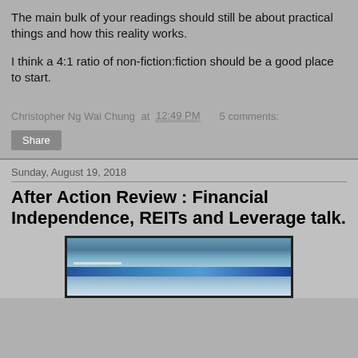The main bulk of your readings should still be about practical things and how this reality works.
I think a 4:1 ratio of non-fiction:fiction should be a good place to start.
Christopher Ng Wai Chung at 12:49 PM    5 comments:
Share
Sunday, August 19, 2018
After Action Review : Financial Independence, REITs and Leverage talk.
[Figure (photo): A photograph showing what appears to be a presentation or event setting with blue tones, possibly a projector screen or display.]